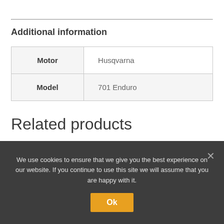Additional information
| Motor | Model |
| --- | --- |
| Husqvarna |
| 701 Enduro |
Related products
[Figure (photo): Product image showing blue bicycle/motorcycle wheel spokes on dark background]
[Figure (photo): Product image showing a black metal bracket or frame component]
We use cookies to ensure that we give you the best experience on our website. If you continue to use this site we will assume that you are happy with it.